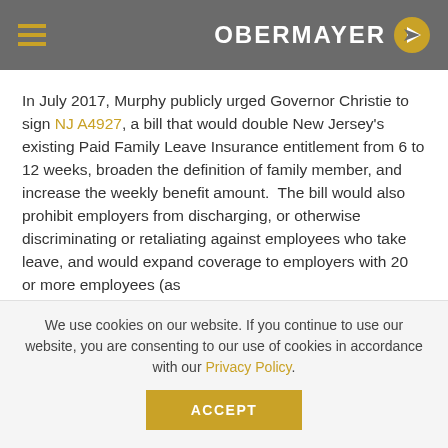OBERMAYER
In July 2017, Murphy publicly urged Governor Christie to sign NJ A4927, a bill that would double New Jersey's existing Paid Family Leave Insurance entitlement from 6 to 12 weeks, broaden the definition of family member, and increase the weekly benefit amount.  The bill would also prohibit employers from discharging, or otherwise discriminating or retaliating against employees who take leave, and would expand coverage to employers with 20 or more employees (as
We use cookies on our website. If you continue to use our website, you are consenting to our use of cookies in accordance with our Privacy Policy.